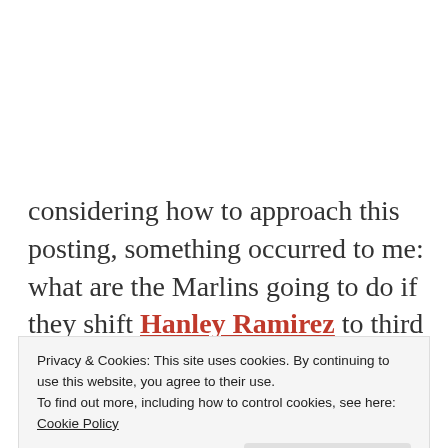considering how to approach this posting, something occurred to me: what are the Marlins going to do if they shift Hanley Ramirez to third base, he's playing there for awhile—be it a week, a month or half a season—and new shortstop Jose Reyes gets hurt
Privacy & Cookies: This site uses cookies. By continuing to use this website, you agree to their use. To find out more, including how to control cookies, see here: Cookie Policy
asked to move back to third when Reyes returns?